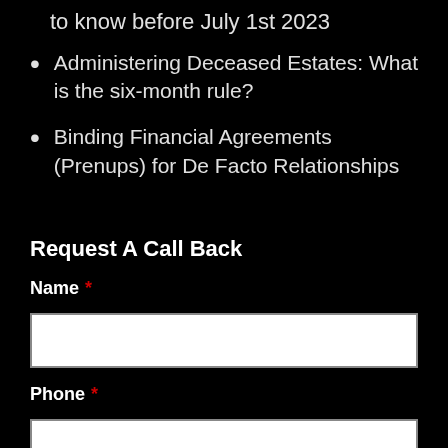to know before July 1st 2023
Administering Deceased Estates: What is the six-month rule?
Binding Financial Agreements (Prenups) for De Facto Relationships
Request A Call Back
Name *
Phone *